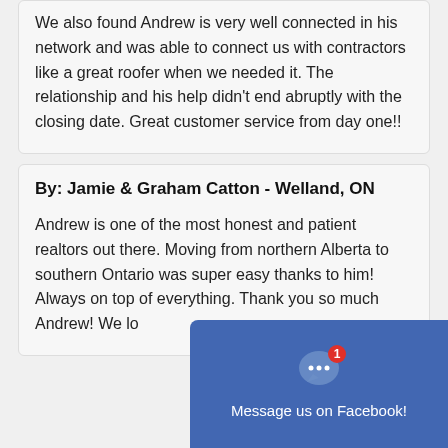We also found Andrew is very well connected in his network and was able to connect us with contractors like a great roofer when we needed it. The relationship and his help didn't end abruptly with the closing date. Great customer service from day one!!
By: Jamie & Graham Catton - Welland, ON
Andrew is one of the most honest and patient realtors out there. Moving from northern Alberta to southern Ontario was super easy thanks to him! Always on top of everything. Thank you so much Andrew! We lo...
[Figure (screenshot): Facebook Messenger overlay button with badge showing '1' notification and text 'Message us on Facebook!']